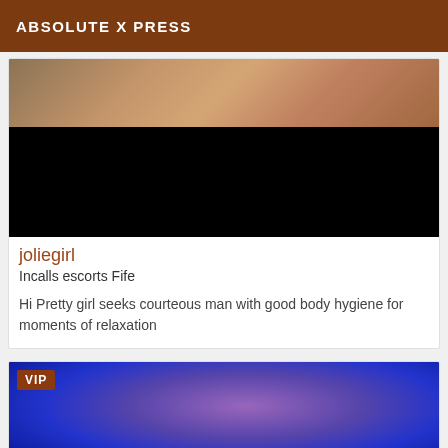ABSOLUTE X PRESS
[Figure (photo): Partial photo showing skin tones at top, then large black censored/blacked-out area below]
joliegirl
Incalls escorts Fife
Hi Pretty girl seeks courteous man with good body hygiene for moments of relaxation
[Figure (photo): Photo with purple/blue lighting showing a person, with VIP badge overlay in top-left corner]